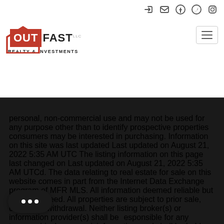Outfast Realty & Investments — navigation header with logo and icons
personal, non-commercial use and may not be used for any purpose other than to identify prospective properties consumers may be interested in purchasing. Information on this site was last updated Last updated on August 21, 2022 5:35 AM UTC The listing information on this page last changed on Last updated on August 21, 2022 5:35 AM UTCd. The data relating to real estate for sale on this website comes in part from the Internet Data Exchange program of MFR MLS. All information deemed reliable but not guaranteed. All properties are subject to prior sale, change or withdrawal. Neither listing broker(s) or information provider(s) shall be responsible for any typographical errors, misinformation, and shall be held totally harmless. Listing(s) information is provided for consumers personal, non-commercial use and